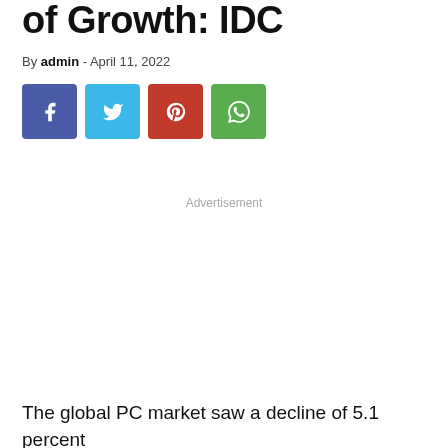of Growth: IDC
By admin - April 11, 2022
[Figure (other): Social media share buttons: Facebook (blue), Twitter (cyan), Pinterest (red), WhatsApp (green)]
Advertisement
The global PC market saw a decline of 5.1 percent